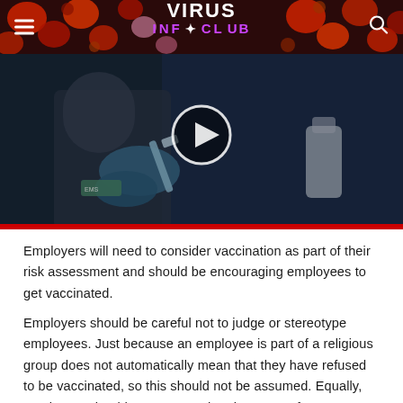VIRUS INFO CLUB
[Figure (screenshot): Video thumbnail showing a healthcare worker in blue gloves handling a medical instrument/syringe, with a play button overlay. Dark blue-toned image with a red bar at the bottom.]
Employers will need to consider vaccination as part of their risk assessment and should be encouraging employees to get vaccinated.
Employers should be careful not to judge or stereotype employees. Just because an employee is part of a religious group does not automatically mean that they have refused to be vaccinated, so this should not be assumed. Equally, employers should not assume that the reason for someones refusal is what the employer perceives their religion to be.